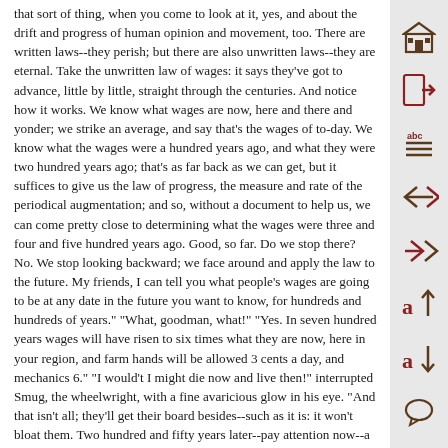that sort of thing, when you come to look at it, yes, and about the drift and progress of human opinion and movement, too. There are written laws--they perish; but there are also unwritten laws--they are eternal. Take the unwritten law of wages: it says they've got to advance, little by little, straight through the centuries. And notice how it works. We know what wages are now, here and there and yonder; we strike an average, and say that's the wages of to-day. We know what the wages were a hundred years ago, and what they were two hundred years ago; that's as far back as we can get, but it suffices to give us the law of progress, the measure and rate of the periodical augmentation; and so, without a document to help us, we can come pretty close to determining what the wages were three and four and five hundred years ago. Good, so far. Do we stop there? No. We stop looking backward; we face around and apply the law to the future. My friends, I can tell you what people's wages are going to be at any date in the future you want to know, for hundreds and hundreds of years." "What, goodman, what!" "Yes. In seven hundred years wages will have risen to six times what they are now, here in your region, and farm hands will be allowed 3 cents a day, and mechanics 6." "I would't I might die now and live then!" interrupted Smug, the wheelwright, with a fine avaricious glow in his eye. "And that isn't all; they'll get their board besides--such as it is: it won't bloat them. Two hundred and fifty years later--pay attention now--a mechanic's wages will be--mind you, this is law, not guesswork; a mechanic's wages will then